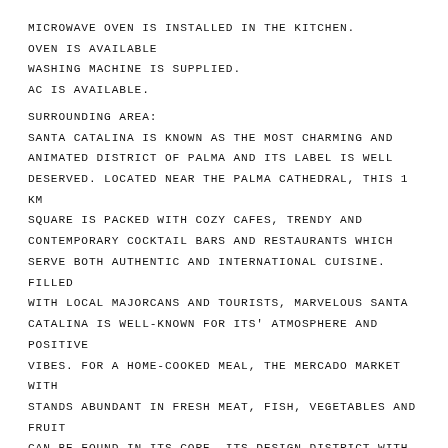Microwave oven is installed in the kitchen.
Oven is available
Washing machine is supplied.
AC is available.
Surrounding area:
Santa Catalina is known as the most charming and animated district of Palma and its label is well deserved. Located near the Palma Cathedral, this 1 km square is packed with cozy cafes, trendy and contemporary cocktail bars and restaurants which serve both authentic and international cuisine. Filled with local Majorcans and tourists, marvelous Santa Catalina is well-known for its' atmosphere and positive vibes. For a home-cooked meal, the Mercado market with stands abundant in fresh meat, fish, vegetables and fruit can be found in its core. Its design district with galleries, hip cafes and artistic shops is one of the